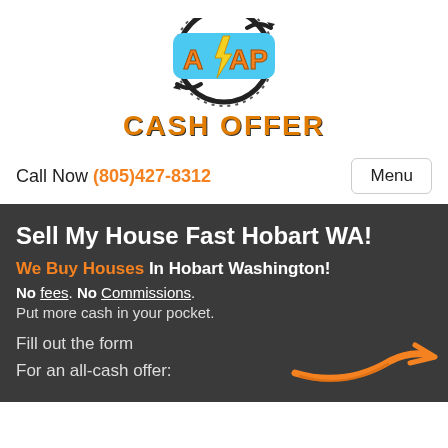[Figure (logo): ASAP Cash Offer logo with lightning bolt badge and circular arrows, with 'CASH OFFER' text below in orange]
Call Now (805)427-8312 | Menu
Sell My House Fast Hobart WA!
We Buy Houses In Hobart Washington!
No fees. No Commissions.
Put more cash in your pocket.
Fill out the form
For an all-cash offer: